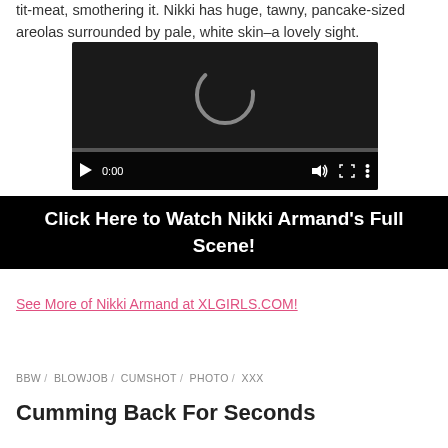tit-meat, smothering it. Nikki has huge, tawny, pancake-sized areolas surrounded by pale, white skin–a lovely sight.
[Figure (screenshot): Embedded video player with dark background, loading spinner, playback controls (play button, 0:00 timestamp, mute, fullscreen, more options), and progress bar.]
Click Here to Watch Nikki Armand's Full Scene!
See More of Nikki Armand at XLGIRLS.COM!
BBW / BLOWJOB / CUMSHOT / PHOTO / XXX
Cumming Back For Seconds